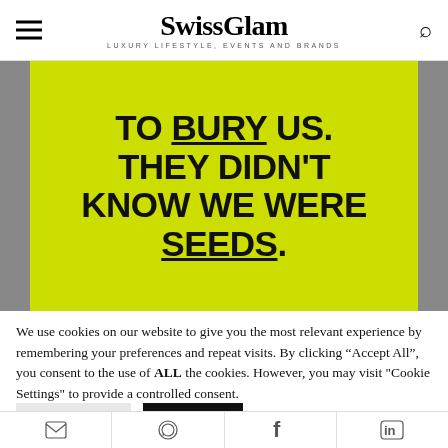SwissGlam — LUXURY LIFESTYLE, EVENTS AND BRANDS
[Figure (photo): Yellow protest sign with black handwritten text reading: 'TO BURY US. THEY DIDN'T KNOW WE WERE SEEDS.' Words BURY and SEEDS are underlined. Sign is flanked by grey wall sections on either side.]
We use cookies on our website to give you the most relevant experience by remembering your preferences and repeat visits. By clicking "Accept All", you consent to the use of ALL the cookies. However, you may visit "Cookie Settings" to provide a controlled consent.
Cookie Settings | Accept All
Mail | WhatsApp | Facebook | LinkedIn